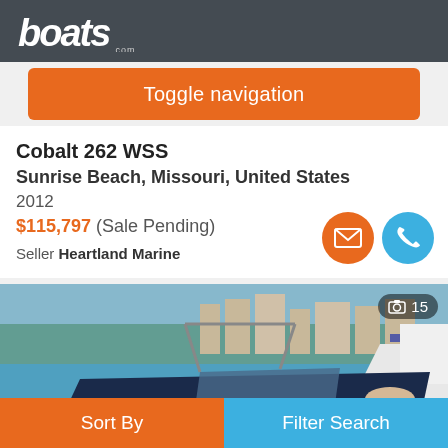[Figure (logo): boats.com logo in white italic text on dark grey header background]
Toggle navigation
Cobalt 262 WSS
Sunrise Beach, Missouri, United States
2012
$115,797 (Sale Pending)
Seller Heartland Marine
[Figure (photo): A Cobalt 262 WSS boat docked at a marina with blue water and buildings in background. Photo count badge showing camera icon and 15.]
Sort By
Filter Search